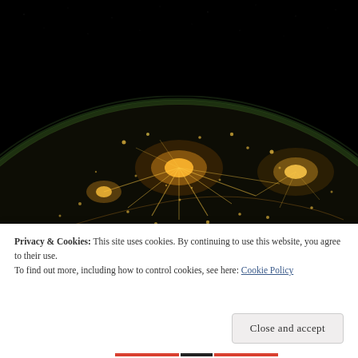[Figure (photo): Aerial/satellite night photo of Earth from space showing city lights glowing orange-gold against dark land, with the curve of the Earth visible at the top and a dark starry sky above.]
Privacy & Cookies: This site uses cookies. By continuing to use this website, you agree to their use.
To find out more, including how to control cookies, see here: Cookie Policy